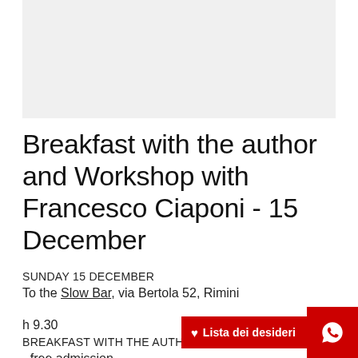[Figure (photo): Light gray placeholder image area at the top of the page]
Breakfast with the author and Workshop with Francesco Ciaponi - 15 December
SUNDAY 15 DECEMBER
To the Slow Bar, via Bertola 52, Rimini
h 9.30
BREAKFAST WITH THE AUTHOR
- free admission -